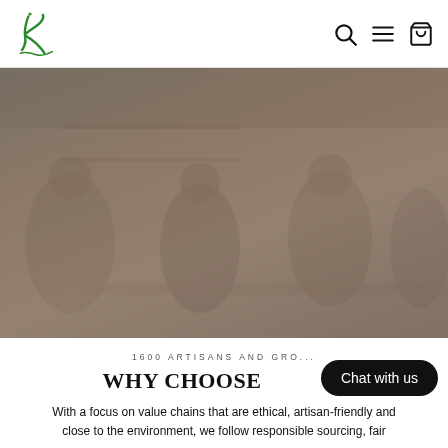Khamir — navigation header with logo, search, menu, and cart icons
[Figure (photo): Photo of artisans working in a craft workshop; people seated around a table examining fabric and materials inside a rustic workspace with wooden shelves.]
1600 ARTISANS AND GRO...
WHY CHOOSE...
With a focus on value chains that are ethical, artisan-friendly and close to the environment, we follow responsible sourcing, fair